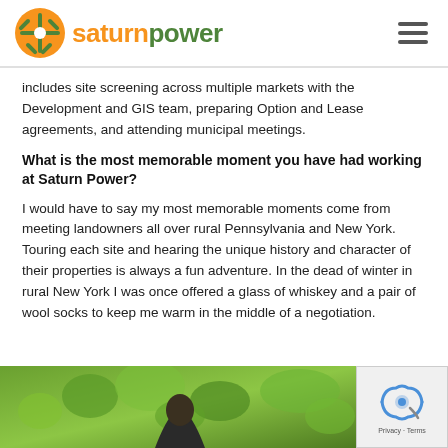Saturn Power
includes site screening across multiple markets with the Development and GIS team, preparing Option and Lease agreements, and attending municipal meetings.
What is the most memorable moment you have had working at Saturn Power?
I would have to say my most memorable moments come from meeting landowners all over rural Pennsylvania and New York. Touring each site and hearing the unique history and character of their properties is always a fun adventure. In the dead of winter in rural New York I was once offered a glass of whiskey and a pair of wool socks to keep me warm in the middle of a negotiation.
[Figure (photo): Bottom portion of page showing a person partially visible against a green leafy background, with a reCAPTCHA widget in the bottom right corner.]